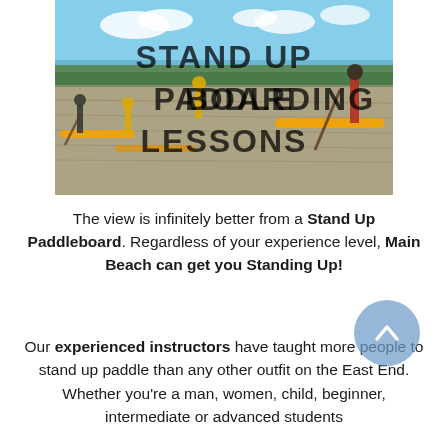[Figure (photo): Outdoor photo of people stand-up paddleboarding on calm water with trees in the background. Overlaid bold text reads: STAND UP PADDLEBOARDING LESSONS]
The view is infinitely better from a Stand Up Paddleboard. Regardless of your experience level, Main Beach can get you Standing Up!
Our experienced instructors have taught more people to stand up paddle than any other outfit on the East End. Whether you're a man, women, child, beginner, intermediate or advanced students